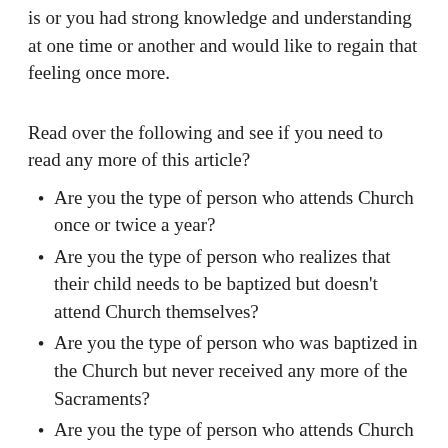is or you had strong knowledge and understanding at one time or another and would like to regain that feeling once more.
Read over the following and see if you need to read any more of this article?
Are you the type of person who attends Church once or twice a year?
Are you the type of person who realizes that their child needs to be baptized but doesn't attend Church themselves?
Are you the type of person who was baptized in the Church but never received any more of the Sacraments?
Are you the type of person who attends Church for funerals, weddings, or baptisms?
Are you the type of person who believes in a